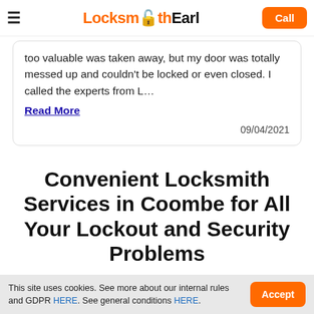Locksmith Earl | Call
too valuable was taken away, but my door was totally messed up and couldn't be locked or even closed. I called the experts from L…
Read More
09/04/2021
Convenient Locksmith Services in Coombe for All Your Lockout and Security Problems
This site uses cookies. See more about our internal rules and GDPR HERE. See general conditions HERE.